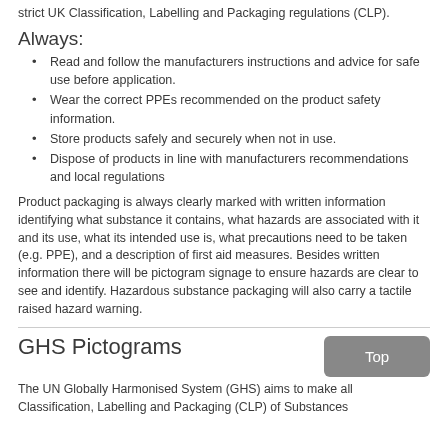strict UK Classification, Labelling and Packaging regulations (CLP).
Always:
Read and follow the manufacturers instructions and advice for safe use before application.
Wear the correct PPEs recommended on the product safety information.
Store products safely and securely when not in use.
Dispose of products in line with manufacturers recommendations and local regulations
Product packaging is always clearly marked with written information identifying what substance it contains, what hazards are associated with it and its use, what its intended use is, what precautions need to be taken (e.g. PPE), and a description of first aid measures. Besides written information there will be pictogram signage to ensure hazards are clear to see and identify. Hazardous substance packaging will also carry a tactile raised hazard warning.
GHS Pictograms
The UN Globally Harmonised System (GHS) aims to make all Classification, Labelling and Packaging (CLP) of Substances